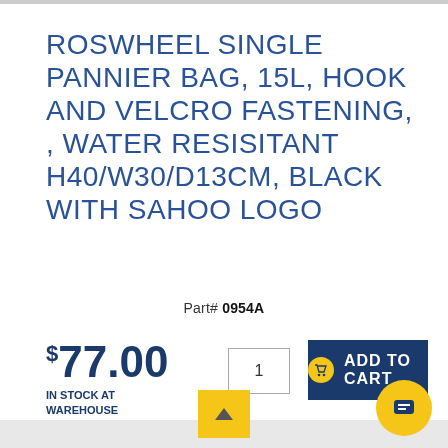ROSWHEEL SINGLE PANNIER BAG, 15L, HOOK AND VELCRO FASTENING, , WATER RESISITANT H40/W30/D13CM, BLACK WITH SAHOO LOGO
Part# 0954A
$77.00 IN STOCK AT WAREHOUSE
1
ADD TO CART